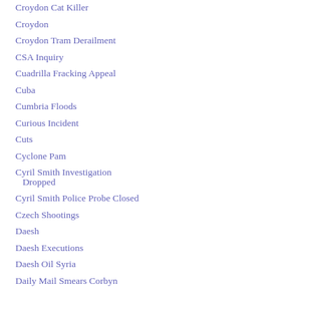Croydon Cat Killer
Croydon
Croydon Tram Derailment
CSA Inquiry
Cuadrilla Fracking Appeal
Cuba
Cumbria Floods
Curious Incident
Cuts
Cyclone Pam
Cyril Smith Investigation Dropped
Cyril Smith Police Probe Closed
Czech Shootings
Daesh
Daesh Executions
Daesh Oil Syria
Daily Mail Smears Corbyn